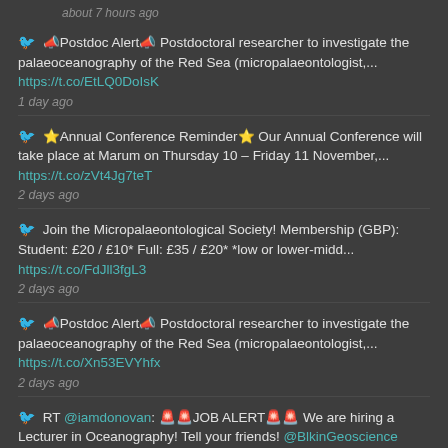about 7 hours ago
🔴Postdoc Alert🔴 Postdoctoral researcher to investigate the palaeoceanography of the Red Sea (micropalaeontologist,... https://t.co/EtLQ0DoIsK
1 day ago
⭐Annual Conference Reminder⭐ Our Annual Conference will take place at Marum on Thursday 10 – Friday 11 November,... https://t.co/zVt4Jg7teT
2 days ago
Join the Micropalaeontological Society! Membership (GBP): Student: £20 / £10* Full: £35 / £20* *low or lower-midd... https://t.co/FdJll3fgL3
2 days ago
🔴Postdoc Alert🔴 Postdoctoral researcher to investigate the palaeoceanography of the Red Sea (micropalaeontologist,... https://t.co/Xn53EVYhfx
2 days ago
RT @iamdonovan: 🚨🚨JOB ALERT🚨🚨 We are hiring a Lecturer in Oceanography! Tell your friends! @BlkinGeoscience @geospatialwomen @earth_jobs...
3 days ago